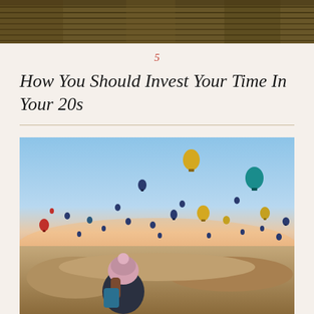[Figure (photo): Top portion of an outdoor photograph showing an aerial/field view with warm earthy tones, partially cropped at the top of the page]
5
How You Should Invest Your Time In Your 20s
[Figure (photo): A woman wearing a pink knitted beanie hat and backpack looking out over a vast landscape filled with dozens of colorful hot air balloons in the sky, at sunrise or sunset with warm pink and blue tones, rocky terrain visible below (Cappadocia, Turkey)]